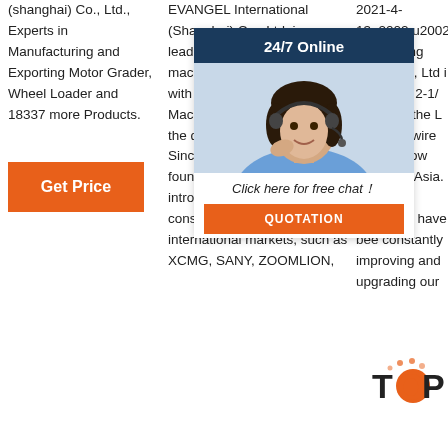(shanghai) Co., Ltd., Experts in Manufacturing and Exporting Motor Grader, Wheel Loader and 18337 more Products.
Get Price
EVANGEL International (Shanghai) Co., Ltd. is a leading Chinese construction machinery exporter, affiliated with Evangel International Machinery Limited, located in the downtown of Shanghai City. Since our company was founded, we persistently introduce excellent Chinese construction machinery to international markets, such as XCMG, SANY, ZOOMLION,
2021-4-13u2002·u2002Anping Yuansheng Mesh Co., Ltd is located in Anping Province. 2-1/... south... Yuansheng... the largest manufacturer and supplier of wire mesh, mesh filter and window screen in Asia. Over the years, we have been constantly improving and upgrading our
[Figure (other): Chat widget with woman wearing headset, 24/7 Online header, Click here for free chat text, and QUOTATION button]
[Figure (logo): TOP logo in orange and dark color with circular dots]